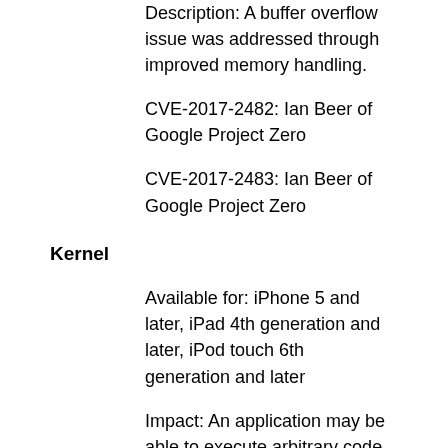Description: A buffer overflow issue was addressed through improved memory handling.
CVE-2017-2482: Ian Beer of Google Project Zero
CVE-2017-2483: Ian Beer of Google Project Zero
Kernel
Available for: iPhone 5 and later, iPad 4th generation and later, iPod touch 6th generation and later
Impact: An application may be able to execute arbitrary code with elevated privileges
Description: A memory corruption issue was addressed through improved memory handling.
CVE-2017-2494: Ian Beer of Google Project Zero